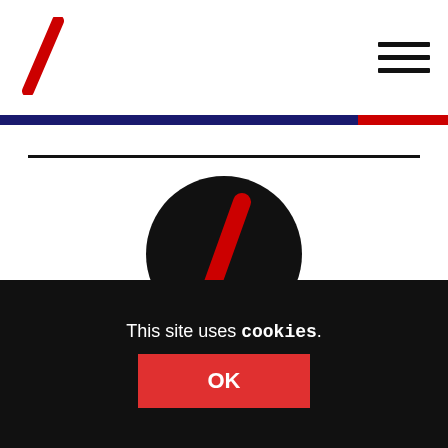Logo and navigation header with hamburger menu
[Figure (logo): Red diagonal slash logo mark in top-left corner]
[Figure (illustration): Circular black avatar with red diagonal slash icon in center]
By Jonathan Wills
More By This Author
Published on 6th March 2014
This site uses cookies.
OK